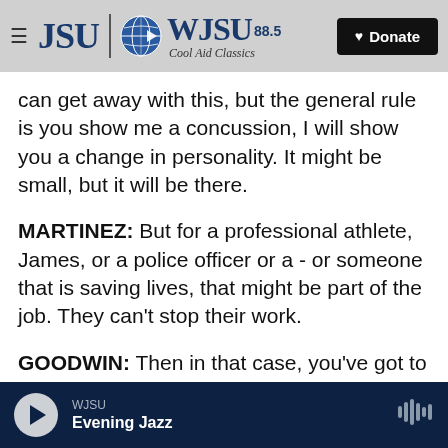[Figure (logo): JSU WJSU 88.5 Cool Aid Classics radio station logo with hamburger menu and Donate button]
can get away with this, but the general rule is you show me a concussion, I will show you a change in personality. It might be small, but it will be there.
MARTINEZ: But for a professional athlete, James, or a police officer or a - or someone that is saving lives, that might be part of the job. They can't stop their work.
GOODWIN: Then in that case, you've got to do everything else possible to maintain the health of your brain because the brain is fairly resilient - I don't want to paint a black picture here - so that it
WJSU Evening Jazz